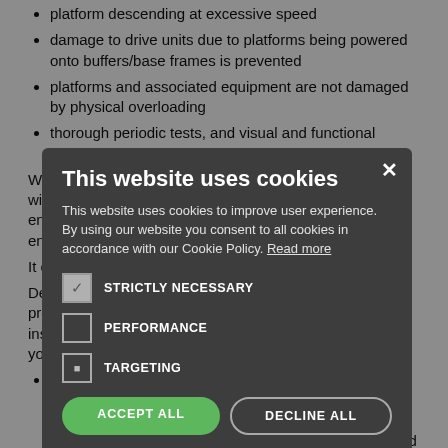platform descending at excessive speed
damage to drive units due to platforms being powered onto buffers/base frames is prevented
platforms and associated equipment are not damaged by physical overloading
thorough periodic tests, and visual and functional checks are appropriately planned and carried out.
Where MCWPs are found in use or available for use without suitable controls to manage the risk, HSE enforcement action will be taken in line with our enforcement policy and procedures.
It offers further instructions:
Detect malfunctions in each drive unit which endanger proper functioning. Where two or more drive units are installed as the system to prevent falling with overspeed, you should ensure that:
there is the means to detect malfunctions in each drive unit that could indicate a loss of mechanical integrity which results in a differential in the current demand between each drive unit, exceeding 25% of the full load current
detection is in accordance with the manufacturer's instructions:
[Figure (screenshot): Cookie consent modal overlay on web page. Title: 'This website uses cookies'. Body text: 'This website uses cookies to improve user experience. By using our website you consent to all cookies in accordance with our Cookie Policy. Read more'. Options: STRICTLY NECESSARY (checked), PERFORMANCE (unchecked), TARGETING (half-checked). Buttons: ACCEPT ALL (green), DECLINE ALL (outline). Show Details link at bottom.]